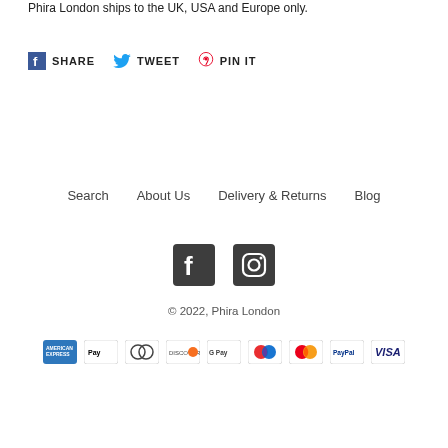Phira London ships to the UK, USA and Europe only.
SHARE  TWEET  PIN IT
Search   About Us   Delivery & Returns   Blog
[Figure (logo): Facebook and Instagram social media icons]
© 2022, Phira London
[Figure (other): Payment method icons: American Express, Apple Pay, Diners Club, Discover, Google Pay, Maestro, Mastercard, PayPal, Visa]